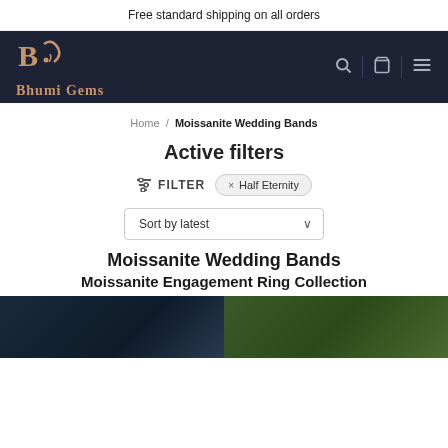Free standard shipping on all orders
[Figure (logo): Bhumi Gems logo with stylized B icon in copper/gold color on dark navy background]
Home / Moissanite Wedding Bands
Active filters
FILTER  × Half Eternity
Sort by latest
Moissanite Wedding Bands
Moissanite Engagement Ring Collection
[Figure (photo): Two product photo thumbnails side by side: left is a dark blue toned ring photo, right is a green toned ring photo]